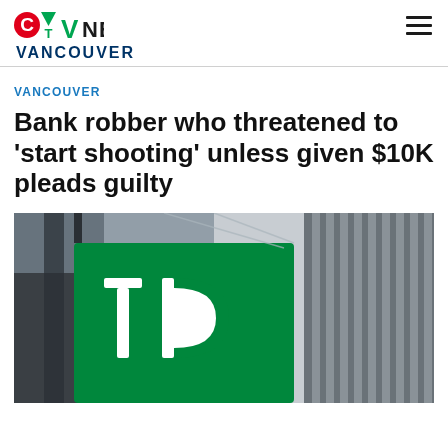CTV NEWS VANCOUVER
VANCOUVER
Bank robber who threatened to 'start shooting' unless given $10K pleads guilty
[Figure (photo): TD Bank sign — large green square TD logo on a building exterior, photographed from below against a grey sky with glass building facade visible to the right.]